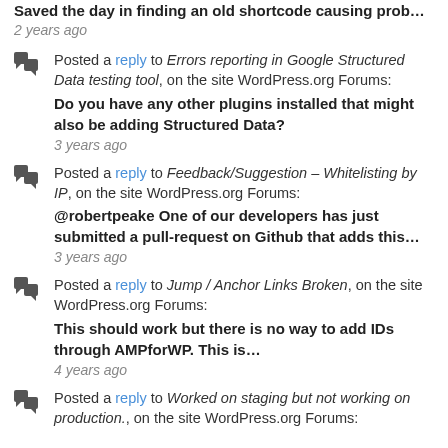Saved the day in finding an old shortcode causing prob…
2 years ago
Posted a reply to Errors reporting in Google Structured Data testing tool, on the site WordPress.org Forums:
Do you have any other plugins installed that might also be adding Structured Data?
3 years ago
Posted a reply to Feedback/Suggestion – Whitelisting by IP, on the site WordPress.org Forums:
@robertpeake One of our developers has just submitted a pull-request on Github that adds this…
3 years ago
Posted a reply to Jump / Anchor Links Broken, on the site WordPress.org Forums:
This should work but there is no way to add IDs through AMPforWP. This is…
4 years ago
Posted a reply to Worked on staging but not working on production., on the site WordPress.org Forums: